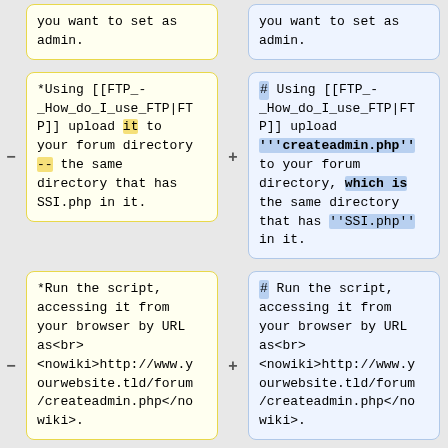you want to set as admin. (top partial row, left cell)
you want to set as admin. (top partial row, right cell)
*Using [[FTP_-_How_do_I_use_FTP|FTP]] upload it to your forum directory -- the same directory that has SSI.php in it.
# Using [[FTP_-_How_do_I_use_FTP|FTP]] upload '''createadmin.php'' to your forum directory, which is the same directory that has ''SSI.php'' in it.
*Run the script, accessing it from your browser by URL as<br> <nowiki>http://www.yourwebsite.tld/forum/createadmin.php</nowiki>.
# Run the script, accessing it from your browser by URL as<br> <nowiki>http://www.yourwebsite.tld/forum/createadmin.php</nowiki>.
*Afterwards, make
# Afterwards, make